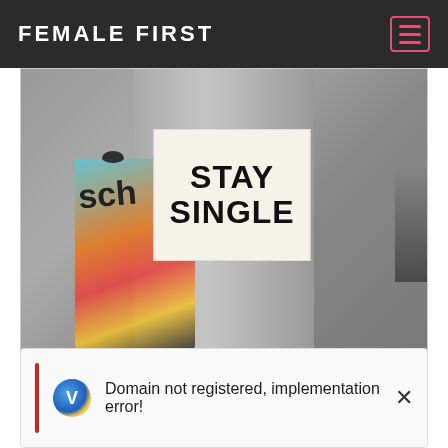FEMALE FIRST
[Figure (photo): A utility pole with a white sticker reading 'STAY SINGLE' in bold black letters, and colorful graffiti stickers layered beneath it.]
Why single shaming needs to stop: The most triggering things you can say to single people
[Figure (screenshot): A content card partially visible with a red left border, a V-letter chat icon (yellow/blue), error message 'Domain not registered, implementation error!' and an X close button.]